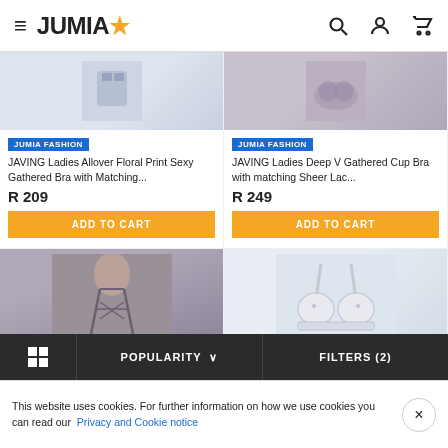JUMIA☆
[Figure (screenshot): Product image top-left: small floral print bra image on light background]
JUMIA FASHION
JAVING Ladies Allover Floral Print Sexy Gathered Bra with Matching...
R 209
ADD TO CART
[Figure (screenshot): Product image top-right: sheer lace bra on grey background]
JUMIA FASHION
JAVING Ladies Deep V Gathered Cup Bra with matching Sheer Lac...
R 249
ADD TO CART
[Figure (screenshot): Product image bottom-left: grey strappy bra worn by model]
[Figure (screenshot): Product image bottom-right: white bra on light background]
POPULARITY ∨
FILTERS (2)
This website uses cookies. For further information on how we use cookies you can read our Privacy and Cookie notice